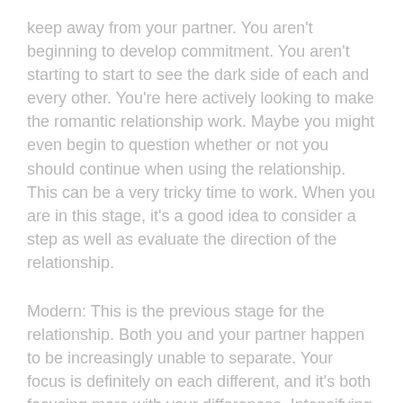keep away from your partner. You aren't beginning to develop commitment. You aren't starting to start to see the dark side of each and every other. You're here actively looking to make the romantic relationship work. Maybe you might even begin to question whether or not you should continue when using the relationship. This can be a very tricky time to work. When you are in this stage, it's a good idea to consider a step as well as evaluate the direction of the relationship.
Modern: This is the previous stage for the relationship. Both you and your partner happen to be increasingly unable to separate. Your focus is definitely on each different, and it's both focusing more with your differences. Intensifying your romance allows you to view the dark side of your partner trying to fix these conflicts. That you simply actively looking to make your romantic relationship work trying to maintain a good